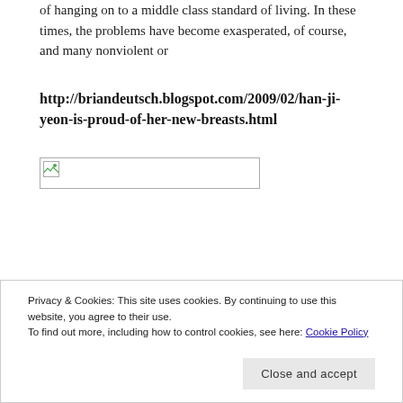of hanging on to a middle class standard of living. In these times, the problems have become exasperated, of course, and many nonviolent or
http://briandeutsch.blogspot.com/2009/02/han-ji-yeon-is-proud-of-her-new-breasts.html
[Figure (other): Broken image placeholder icon inside a bordered rectangle]
Privacy & Cookies: This site uses cookies. By continuing to use this website, you agree to their use.
To find out more, including how to control cookies, see here: Cookie Policy
Close and accept